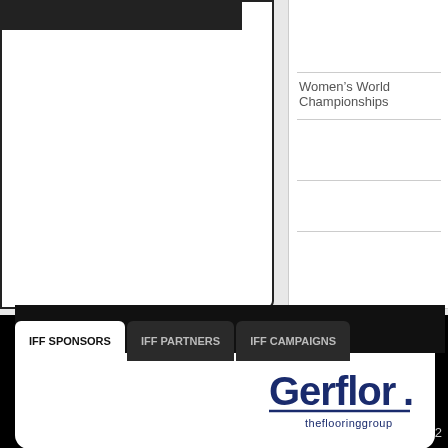Women's World Championships
IFF SPONSORS | IFF PARTNERS | IFF CAMPAIGNS
[Figure (logo): Gerflor theflooringgroup logo in dark navy blue]
IFF Alakiventie 2, 00920 Helsinki, Finland Phone: +
202